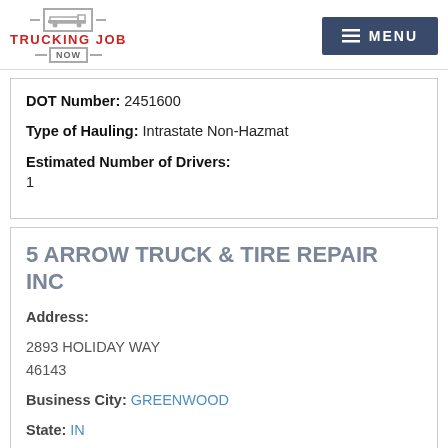TRUCKING JOB NOW | MENU
DOT Number: 2451600
Type of Hauling: Intrastate Non-Hazmat
Estimated Number of Drivers: 1
5 ARROW TRUCK & TIRE REPAIR INC
Address: 2893 HOLIDAY WAY 46143
Business City: GREENWOOD
State: IN